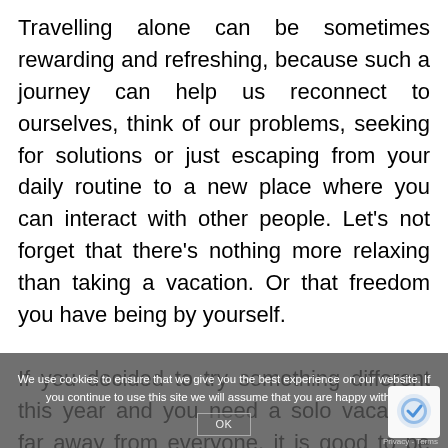Travelling alone can be sometimes rewarding and refreshing, because such a journey can help us reconnect to ourselves, think of our problems, seeking for solutions or just escaping from your daily routine to a new place where you can interact with other people. Let's not forget that there's nothing more relaxing than taking a vacation. Or that freedom you have being by yourself.

If you decided to try something different this year and you need a solo vacation, far away from everyone, it is good to be informed about the best places to go travelling to. Once you have figured out the best travel destination to travel alone, it is indicated to see how much there is to do in that particular place, how easy
We use cookies to ensure that we give you the best experience on our website. If you continue to use this site we will assume that you are happy with it.